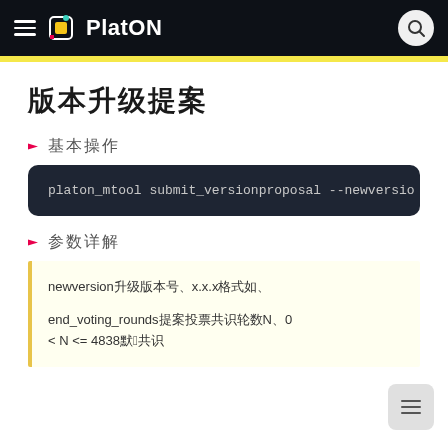PlatON
版本升级提案
基本操作
platon_mtool submit_versionproposal --newversio
参数详解
newversion：升级版本号，x.x.x格式，如：1.7.0
end_voting_rounds：提案投票共识轮数N，0 < N <= 4838，默认2共识轮